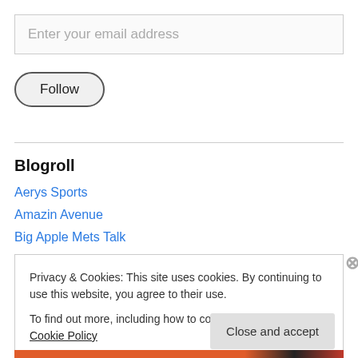Enter your email address
Follow
Blogroll
Aerys Sports
Amazin Avenue
Big Apple Mets Talk
Bleeding All Blue
Privacy & Cookies: This site uses cookies. By continuing to use this website, you agree to their use. To find out more, including how to control cookies, see here: Cookie Policy
Close and accept